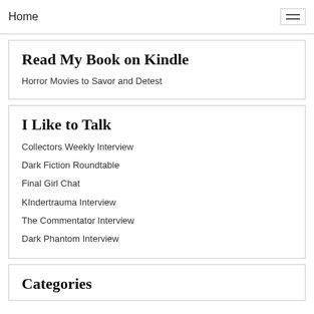Home
Read My Book on Kindle
Horror Movies to Savor and Detest
I Like to Talk
Collectors Weekly Interview
Dark Fiction Roundtable
Final Girl Chat
KIndertrauma Interview
The Commentator Interview
Dark Phantom Interview
Categories